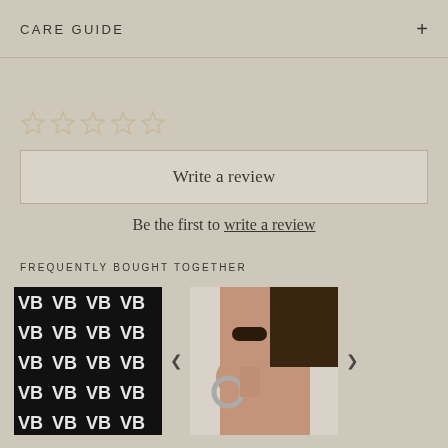CARE GUIDE
[Figure (other): Five empty star rating icons in a row]
Write a review
Be the first to write a review
FREQUENTLY BOUGHT TOGETHER
[Figure (photo): Product with VB monogram pattern on black background]
[Figure (photo): Model wearing silver hoop earrings, close-up of face]